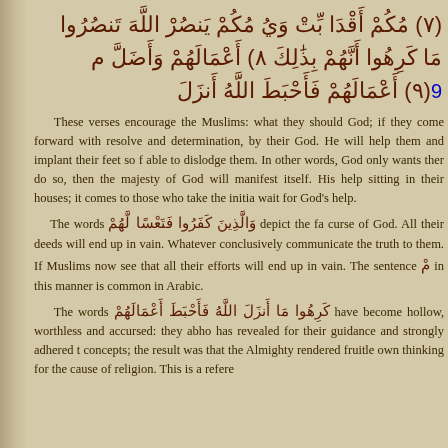Arabic verse lines with verse numbers (7), (8), (9)
These verses encourage the Muslims: what they should God; if they come forward with resolve and determination, by their God. He will help them and implant their feet so able to dislodge them. In other words, God only wants then do so, then the majesty of God will manifest itself. His help sitting in their houses; it comes to those who take the initia wait for God's help.
The words [Arabic] depict the fa curse of God. All their deeds will end up in vain. Whatever conclusively communicate the truth to them. If Muslims now see that all their efforts will end up in vain. The sentence [Arabic] in this manner is common in Arabic.
The words [Arabic] have become hollow, worthless and accursed: they abho has revealed for their guidance and strongly adhered concepts; the result was that the Almighty rendered fruitle own thinking for the cause of religion. This is a refere